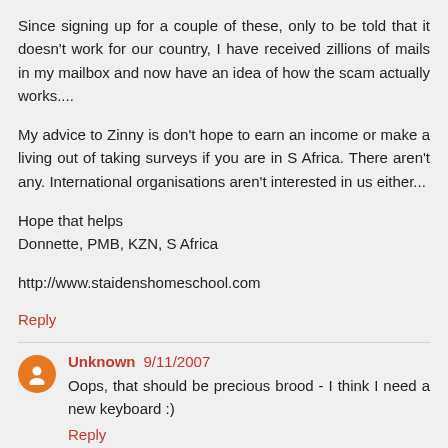Since signing up for a couple of these, only to be told that it doesn't work for our country, I have received zillions of mails in my mailbox and now have an idea of how the scam actually works....
My advice to Zinny is don't hope to earn an income or make a living out of taking surveys if you are in S Africa. There aren't any. International organisations aren't interested in us either...
Hope that helps
Donnette, PMB, KZN, S Africa
http://www.staidenshomeschool.com
Reply
Unknown 9/11/2007
Oops, that should be precious brood - I think I need a new keyboard :)
Reply